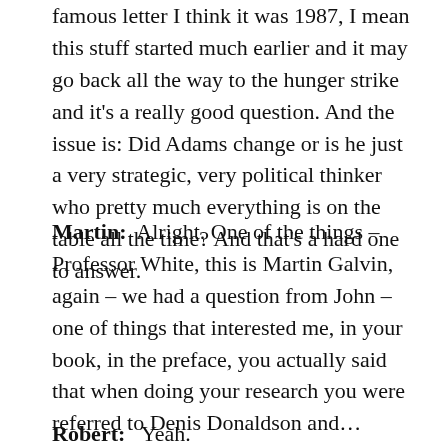famous letter I think it was 1987, I mean this stuff started much earlier and it may go back all the way to the hunger strike and it's a really good question. And the issue is: Did Adams change or is he just a very strategic, very political thinker who pretty much everything is on the table all the time? And that's a hard one to answer.
Martin:  Alright. One of the things – Professor White, this is Martin Galvin, again – we had a question from John – one of things that interested me, in your book, in the preface, you actually said that when doing your research you were referred to Denis Donaldson and...
Robert:   Yeah.